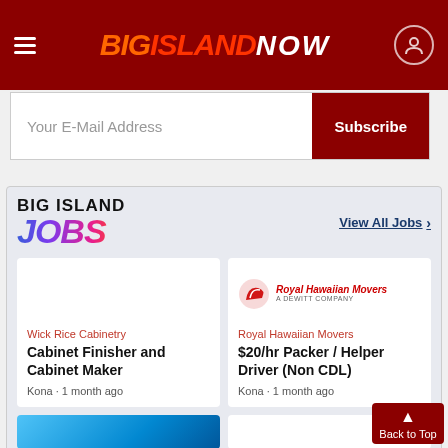BIG ISLAND NOW
Your E-Mail Address
Subscribe
[Figure (logo): Big Island Jobs logo with briefcase icon and colorful gradient JOBS text]
View All Jobs >
Wick Rice Cabinetry
Cabinet Finisher and Cabinet Maker
Kona · 1 month ago
[Figure (logo): Royal Hawaiian Movers logo - A Dewitt Company]
Royal Hawaiian Movers
$20/hr Packer / Helper Driver (Non CDL)
Kona · 1 month ago
Back to Top